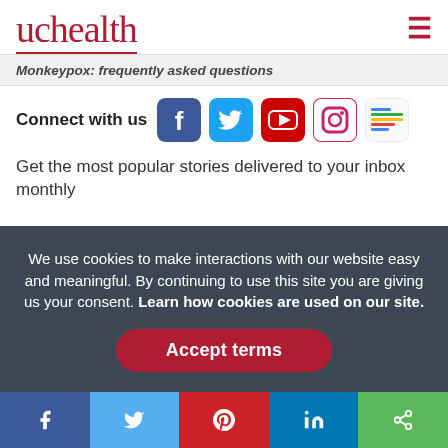[Figure (logo): UCHealth logo in dark red/crimson with underline]
Monkeypox: frequently asked questions
Connect with us
[Figure (infographic): Social media icons: Facebook, Twitter, YouTube, Instagram, Google News]
Get the most popular stories delivered to your inbox monthly
We use cookies to make interactions with our website easy and meaningful. By continuing to use this site you are giving us your consent. Learn how cookies are used on our site.
Accept terms
[Figure (infographic): Social share bar at bottom: Facebook, Twitter, Pinterest, LinkedIn, Share]